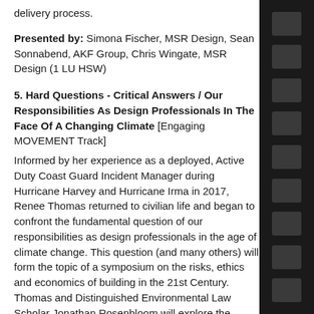delivery process.
Presented by: Simona Fischer, MSR Design, Sean Sonnabend, AKF Group, Chris Wingate, MSR Design (1 LU HSW)
5. Hard Questions - Critical Answers / Our Responsibilities As Design Professionals In The Face Of A Changing Climate [Engaging MOVEMENT Track]
Informed by her experience as a deployed, Active Duty Coast Guard Incident Manager during Hurricane Harvey and Hurricane Irma in 2017, Renee Thomas returned to civilian life and began to confront the fundamental question of our responsibilities as design professionals in the age of climate change. This question (and many others) will form the topic of a symposium on the risks, ethics and economics of building in the 21st Century. Thomas and Distinguished Environmental Law Scholar Jonathan Rosenbloom will explore the broader concepts of Risk, Resilience and Hazard Mitigation.
By attending this workshop participants will be